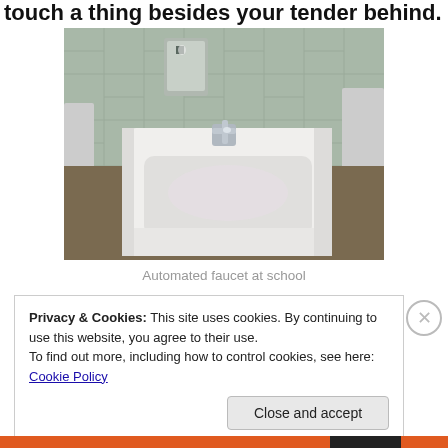touch a thing besides your tender behind.
[Figure (photo): A white wall-mounted sink with a chrome automated faucet in a school bathroom with green tiles and a soap dispenser on the wall.]
Automated faucet at school
Privacy & Cookies: This site uses cookies. By continuing to use this website, you agree to their use.
To find out more, including how to control cookies, see here: Cookie Policy
Close and accept